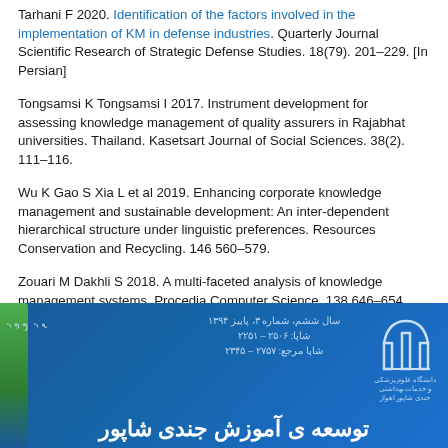Tarhani F 2020. Identification of the factors involved in the implementation of KM in defense industries. Quarterly Journal Scientific Research of Strategic Defense Studies. 18(79). 201–229. [In Persian]
Tongsamsi K Tongsamsi I 2017. Instrument development for assessing knowledge management of quality assurers in Rajabhat universities. Thailand. Kasetsart Journal of Social Sciences. 38(2). 111–116.
Wu K Gao S Xia L et al 2019. Enhancing corporate knowledge management and sustainable development: An inter-dependent hierarchical structure under linguistic preferences. Resources Conservation and Recycling. 146 560–579.
Zouari M Dakhli S 2018. A multi-faceted analysis of knowledge management systems. Procedia Computer Science. 138 646–654.
[Figure (other): Blue journal banner with Persian text. Shows a journal header with logo (stylized arch/building icon), Persian text indicating volume/issue info (شاپا: ۲۵۰۶ - ۲۲۵۱, شاپا مرجع: ۲۷۵۷ – ۲۳۴۵), and the journal title in large white Persian text: توسعه ی آموزش جندی شاپور. Green stripe on left side.]